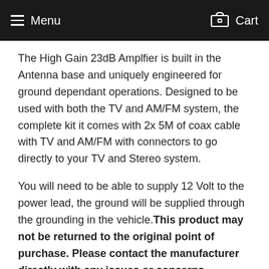Menu   Cart
The High Gain 23dB Amplfier is built in the Antenna base and uniquely engineered for ground dependant operations. Designed to be used with both the TV and AM/FM system, the complete kit it comes with 2x 5M of coax cable with TV and AM/FM with connectors to go directly to your TV and Stereo system.
You will need to be able to supply 12 Volt to the power lead, the ground will be supplied through the grounding in the vehicle. This product may not be returned to the original point of purchase. Please contact the manufacturer directly with any issues or concerns.
Specifications:
Antenna Band: AM/FM